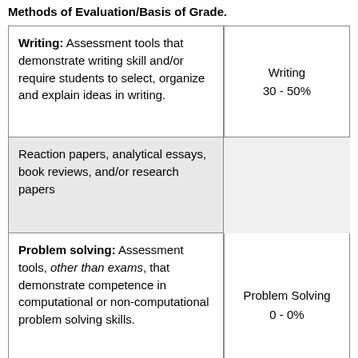Methods of Evaluation/Basis of Grade.
| Description | Category/Percentage |
| --- | --- |
| Writing: Assessment tools that demonstrate writing skill and/or require students to select, organize and explain ideas in writing. | Writing
30 - 50% |
| Reaction papers, analytical essays, book reviews, and/or research papers |  |
| Problem solving: Assessment tools, other than exams, that demonstrate competence in computational or non-computational problem solving skills. | Problem Solving
0 - 0% |
| None |  |